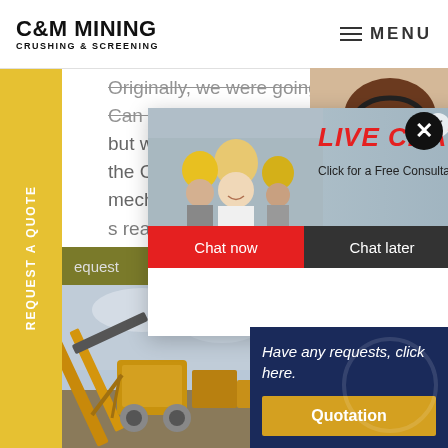C&M MINING CRUSHING & SCREENING | MENU
Originally, we were going to do just a Can Crusher but we needed to add design features, the Can Crusher itself is mostly mechanical in its design. s realization led to the idea that the Can usher sh ash can.
REQUEST A QUOTE
equest
[Figure (screenshot): Live chat popup overlay showing workers in hard hats, LIVE CHAT heading in red italic text, 'Click for a Free Consultation' subtitle, Chat now (red) and Chat later (dark) buttons. Close X buttons visible.]
[Figure (photo): Customer service representative (woman with headset) on right side]
[Figure (photo): Mining/crushing equipment machinery photo at bottom of page]
Have any requests, click here.
Quotation